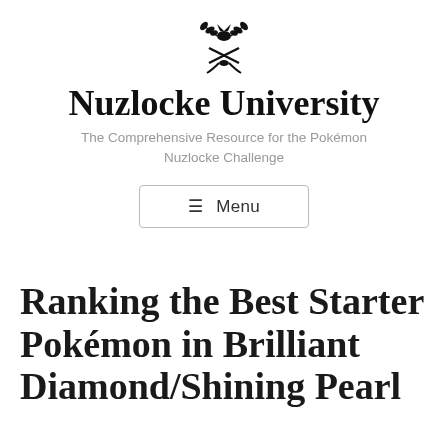[Figure (logo): Black decorative emblem with laurel wreath and crossed elements, resembling a university crest or badge]
Nuzlocke University
The Comprehensive Resource for the Pokémon Nuzlocke Challenge
☰ Menu
Ranking the Best Starter Pokémon in Brilliant Diamond/Shining Pearl